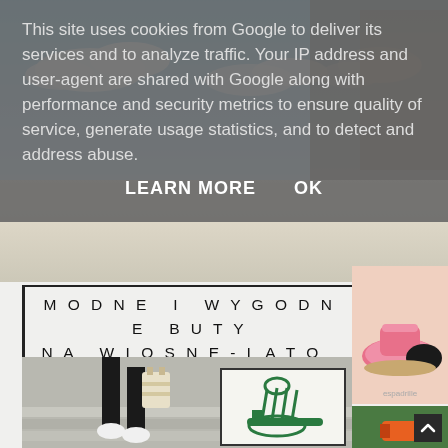[Figure (screenshot): Website screenshot showing a cookie consent overlay on top of a fashion/lifestyle page. The overlay has grey background with cookie notice text and LEARN MORE / OK buttons. Below shows a page titled 'MODNE I WYGODNE BUTY NA WIOSNĘ-LATO 2022' (Fashionable and comfortable shoes for spring-summer 2022) with fashion photos of shoes and people walking.]
This site uses cookies from Google to deliver its services and to analyze traffic. Your IP address and user-agent are shared with Google along with performance and security metrics to ensure quality of service, generate usage statistics, and to detect and address abuse.
LEARN MORE    OK
MODNE I WYGODNE BUTY NA WIOSNĘ-LATO 2022